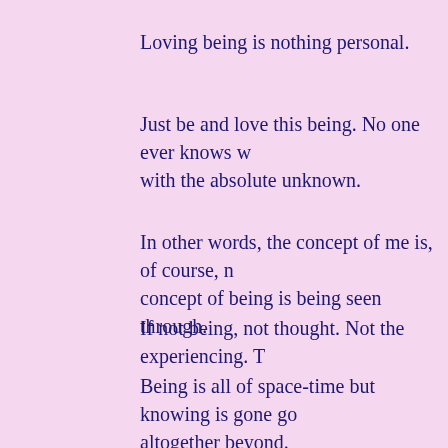Loving being is nothing personal.
Just be and love this being. No one ever knows w with the absolute unknown.
In other words, the concept of me is, of course, n concept of being is being seen through.
If not being, not thought. Not the experiencing. T
Being is all of space-time but knowing is gone go altogether beyond.
Deep sleep disproves every state of dreaming.
The person is to the world as being is the univers
Being is to the world. Only is to the...